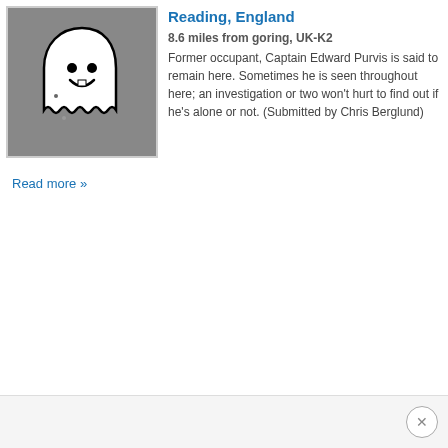[Figure (illustration): Cartoon ghost image on a grey background — a white ghost with a smiling face, rounded body, and wavy bottom edge with a black outline.]
Reading, England
8.6 miles from goring, UK-K2
Former occupant, Captain Edward Purvis is said to remain here. Sometimes he is seen throughout here; an investigation or two won't hurt to find out if he's alone or not. (Submitted by Chris Berglund)
Read more »